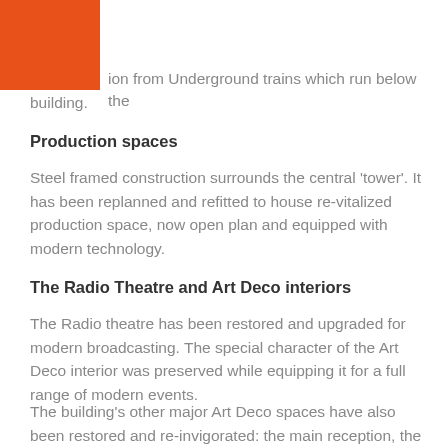ion from Underground trains which run below the building.
Production spaces
Steel framed construction surrounds the central 'tower'. It has been replanned and refitted to house re-vitalized production space, now open plan and equipped with modern technology.
The Radio Theatre and Art Deco interiors
The Radio theatre has been restored and upgraded for modern broadcasting. The special character of the Art Deco interior was preserved while equipping it for a full range of modern events.
The building's other major Art Deco spaces have also been restored and re-invigorated: the main reception, the oak panelled Council Chamber and the Director General's